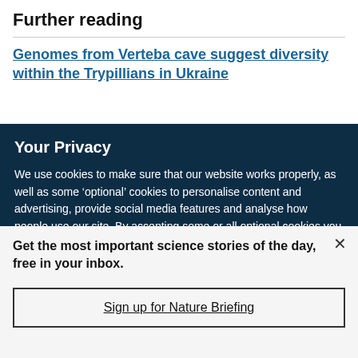Further reading
Genomes from Verteba cave suggest diversity within the Trypillians in Ukraine
Your Privacy
We use cookies to make sure that our website works properly, as well as some ‘optional’ cookies to personalise content and advertising, provide social media features and analyse how people use our site. By accepting some or all optional cookies you give consent to the processing of your personal data, including transfer to third parties, some in countries outside of the European Economic Area that do not offer the same data protection standards as the country where you live. You can decide which optional cookies to accept by clicking on ‘Manage Settings’, where you can
Get the most important science stories of the day, free in your inbox.
Sign up for Nature Briefing